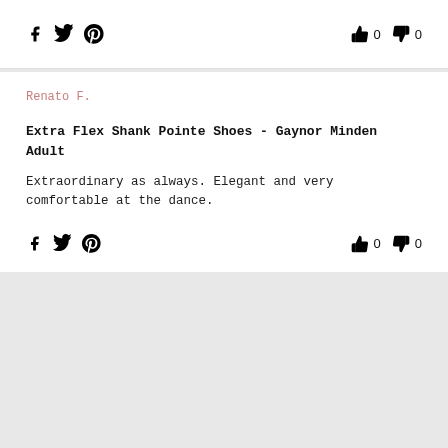Renato F.
Extra Flex Shank Pointe Shoes - Gaynor Minden Adult
Extraordinary as always. Elegant and very comfortable at the dance.